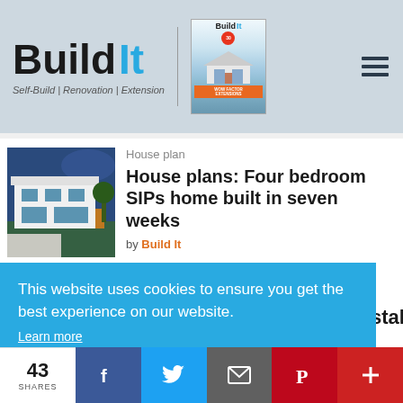Build It — Self-Build | Renovation | Extension
[Figure (screenshot): Build It magazine cover with house image and '30' badge]
House plan
House plans: Four bedroom SIPs home built in seven weeks
by Build It
This website uses cookies to ensure you get the best experience on our website. Learn more
Got it!
43 SHARES